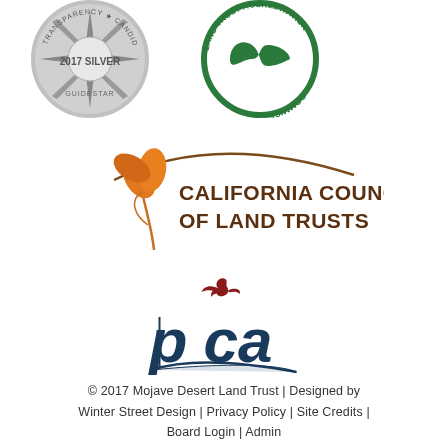[Figure (logo): GuideStar 2017 Silver seal - circular silver badge with star/compass design, text '2017 SILVER' and 'GUIDESTAR']
[Figure (logo): Land Trust Accreditation Commission circular green logo with infinity/loop symbol and text 'LAND TRUST ACCREDITATION COMMISSION' around the border]
[Figure (logo): California Council of Land Trusts logo - orange California poppy flower with brown swooping line and brown text 'CALIFORNIA COUNCIL OF LAND TRUSTS']
[Figure (logo): PCA logo - dark navy blue stylized letters 'pca' with a dark red hummingbird flying above]
© 2017 Mojave Desert Land Trust | Designed by Winter Street Design | Privacy Policy | Site Credits | Board Login | Admin